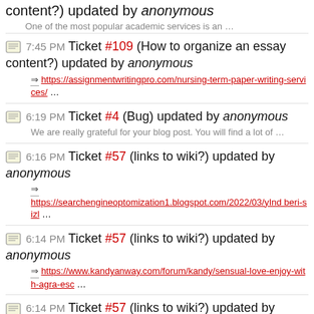content?) updated by anonymous
One of the most popular academic services is an …
7:45 PM Ticket #109 (How to organize an essay content?) updated by anonymous
https://assignmentwritingpro.com/nursing-term-paper-writing-services/ …
6:19 PM Ticket #4 (Bug) updated by anonymous
We are really grateful for your blog post. You will find a lot of …
6:16 PM Ticket #57 (links to wiki?) updated by anonymous
https://searchengineoptomization1.blogspot.com/2022/03/yInd beri-sizl …
6:14 PM Ticket #57 (links to wiki?) updated by anonymous
https://www.kandyanway.com/forum/kandy/sensual-love-enjoy-with-agra-esc …
6:14 PM Ticket #57 (links to wiki?) updated by anonymous